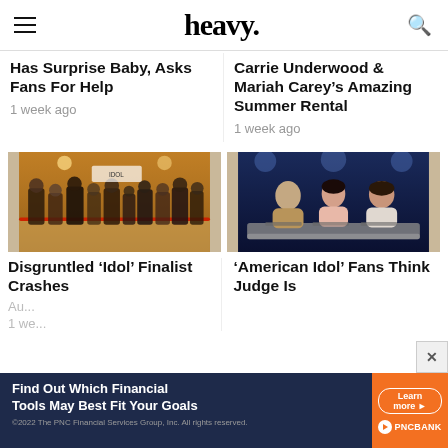heavy.
Has Surprise Baby, Asks Fans For Help
1 week ago
Carrie Underwood & Mariah Carey's Amazing Summer Rental
1 week ago
[Figure (photo): Crowd of people waiting in line at an American Idol audition venue with red rope barriers]
[Figure (photo): Three American Idol judges sitting at a table on stage under blue lighting]
Disgruntled 'Idol' Finalist Crashes Au...
1 we...
'American Idol' Fans Think Judge Is
Find Out Which Financial Tools May Best Fit Your Goals
©2022 The PNC Financial Services Group, Inc. All rights reserved.